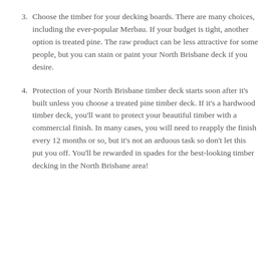3. Choose the timber for your decking boards. There are many choices, including the ever-popular Merbau. If your budget is tight, another option is treated pine. The raw product can be less attractive for some people, but you can stain or paint your North Brisbane deck if you desire.
4. Protection of your North Brisbane timber deck starts soon after it's built unless you choose a treated pine timber deck. If it's a hardwood timber deck, you'll want to protect your beautiful timber with a commercial finish. In many cases, you will need to reapply the finish every 12 months or so, but it's not an arduous task so don't let this put you off. You'll be rewarded in spades for the best-looking timber decking in the North Brisbane area!